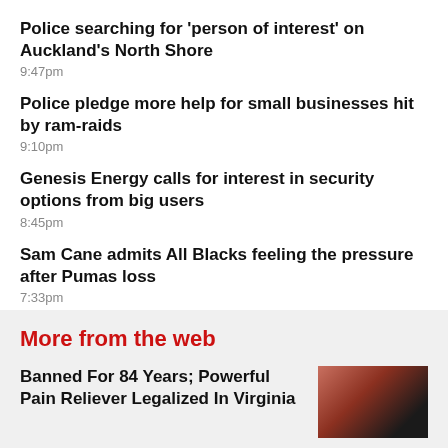Police searching for 'person of interest' on Auckland's North Shore
9:47pm
Police pledge more help for small businesses hit by ram-raids
9:10pm
Genesis Energy calls for interest in security options from big users
8:45pm
Sam Cane admits All Blacks feeling the pressure after Pumas loss
7:33pm
More from the web
Banned For 84 Years; Powerful Pain Reliever Legalized In Virginia
[Figure (photo): Close-up photo of a red gummy candy being held by fingers against a dark background]